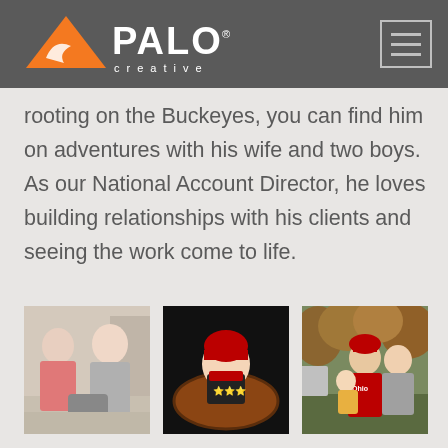[Figure (logo): Palo Creative logo with orange triangle and white PALO text with 'creative' below, on dark gray header background]
[Figure (other): Hamburger menu icon (three horizontal lines) in a rectangle border, top right of header]
rooting on the Buckeyes, you can find him on adventures with his wife and two boys. As our National Account Director, he loves building relationships with his clients and seeing the work come to life.
[Figure (photo): Photo of a man and a woman standing together indoors, man wearing pink shirt, woman in gray top]
[Figure (photo): Photo of a baby in Ohio State themed outfit sitting on a football on a dark background]
[Figure (photo): Photo of a family (man in red Ohio hoodie, woman, and child) outdoors with autumn foliage]